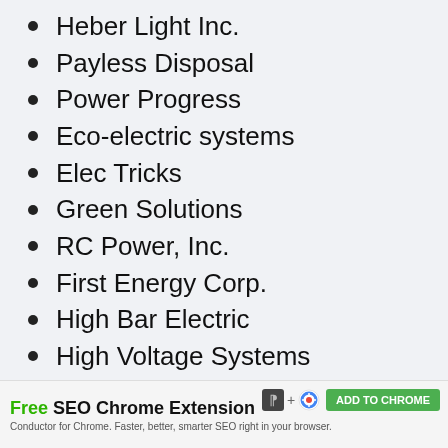Heber Light Inc.
Payless Disposal
Power Progress
Eco-electric systems
Elec Tricks
Green Solutions
RC Power, Inc.
First Energy Corp.
High Bar Electric
High Voltage Systems
Intoxalock Ignition Interlock
Shine Bright
Static Solutions
Free SEO Chrome Extension — Conductor for Chrome. Faster, better, smarter SEO right in your browser. ADD TO CHROME